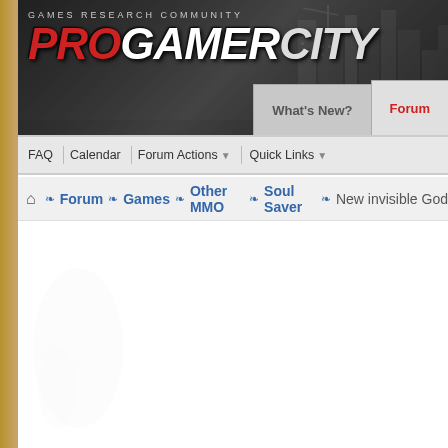[Figure (screenshot): ProGamerCity Games Research Community forum website header with logo and navigation]
GAMES RESEARCH COMMUNITY - PROGAMERCITY
What's New?  Forum
FAQ  Calendar  Forum Actions  Quick Links
Forum > Games > Other MMO > Soul Saver > New invisible God